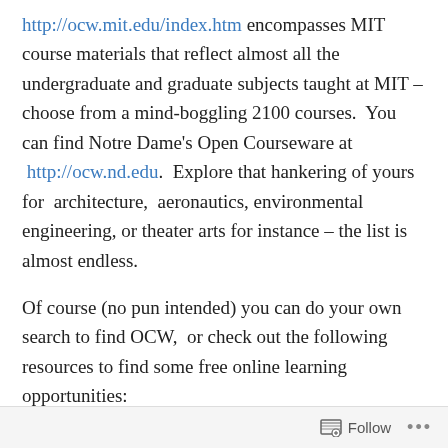http://ocw.mit.edu/index.htm encompasses MIT course materials that reflect almost all the undergraduate and graduate subjects taught at MIT – choose from a mind-boggling 2100 courses.  You can find Notre Dame's Open Courseware at  http://ocw.nd.edu.  Explore that hankering of yours for  architecture,  aeronautics, environmental engineering, or theater arts for instance – the list is almost endless.
Of course (no pun intended) you can do your own search to find OCW,  or check out the following resources to find some free online learning opportunities:
http://opencourseware.us
http://www.statestats.org
Follow